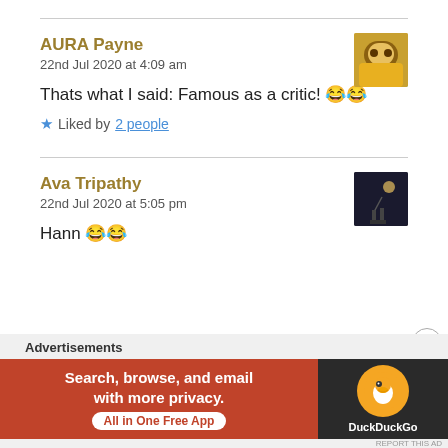AURA Payne
22nd Jul 2020 at 4:09 am
Thats what I said: Famous as a critic! 😂😂
★ Liked by 2 people
[Figure (photo): Profile photo of AURA Payne - person in yellow shirt]
Ava Tripathy
22nd Jul 2020 at 5:05 pm
Hann 😂😂
[Figure (photo): Profile photo of Ava Tripathy - dark silhouette scene]
Advertisements
[Figure (screenshot): DuckDuckGo advertisement banner: Search, browse, and email with more privacy. All in One Free App]